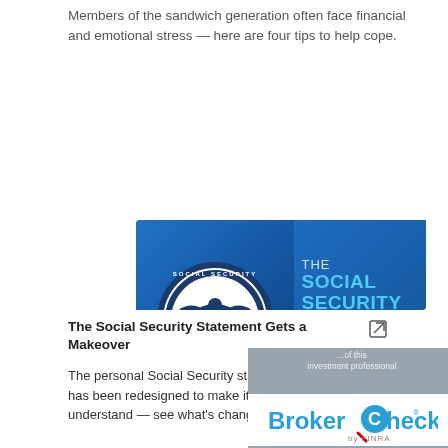Members of the sandwich generation often face financial and emotional stress — here are four tips to help cope.
[Figure (screenshot): Video thumbnail for 'The Social Security Statement Gets a Makeover' showing Social Security Administration seal on blue background with text overlay and 1:56 duration badge]
The Social Security Statement Gets a Makeover
The personal Social Security statement has been redesigned to make it easier to understand — see what's changed.
[Figure (logo): BrokerCheck by FINRA overlay widget with gray background and white logo area]